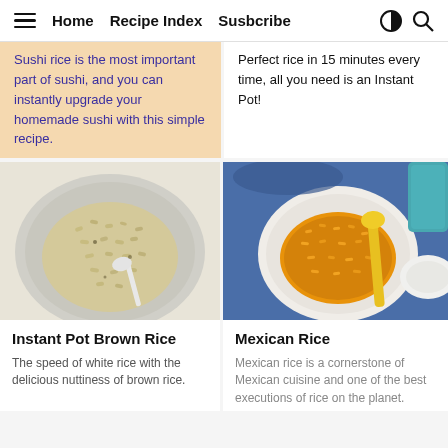≡  Home   Recipe Index   Susbcribe
Sushi rice is the most important part of sushi, and you can instantly upgrade your homemade sushi with this simple recipe.
Perfect rice in 15 minutes every time, all you need is an Instant Pot!
[Figure (photo): Bowl of instant pot brown rice with a spoon, viewed from above on a light surface]
Instant Pot Brown Rice
The speed of white rice with the delicious nuttiness of brown rice.
[Figure (photo): Bowl of Mexican rice (orange/yellow colored) with a yellow spoon, blue cloth, and a side dish visible]
Mexican Rice
Mexican rice is a cornerstone of Mexican cuisine and one of the best executions of rice on the planet.